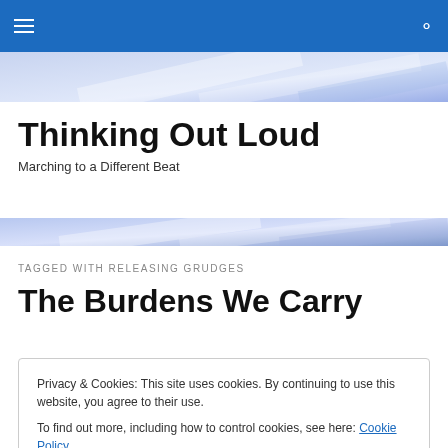Thinking Out Loud — navigation bar with hamburger menu and search icon
Thinking Out Loud
Marching to a Different Beat
TAGGED WITH RELEASING GRUDGES
The Burdens We Carry
Yesterday in the link list, I noted a sermon preached
Privacy & Cookies: This site uses cookies. By continuing to use this website, you agree to their use.
To find out more, including how to control cookies, see here: Cookie Policy
Close and accept
were carrying. Though the cards were anonymous,